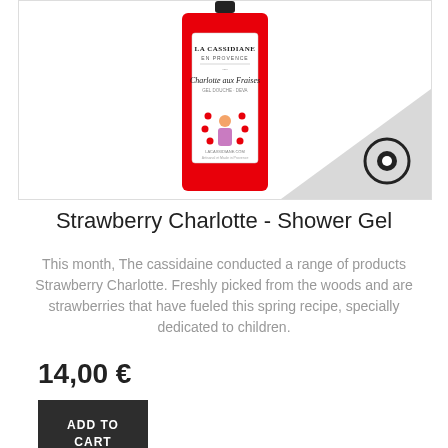[Figure (photo): Product photo of La Cassidaine Strawberry Charlotte Shower Gel in a red rectangular bottle with label showing a girl juggling strawberries. Bottom-right corner has a gray triangle with an eye icon.]
Strawberry Charlotte - Shower Gel
This month, The cassidaine conducted a range of products Strawberry Charlotte. Freshly picked from the woods and are strawberries that have fueled this spring recipe, specially dedicated to children.
14,00 €
ADD TO CART